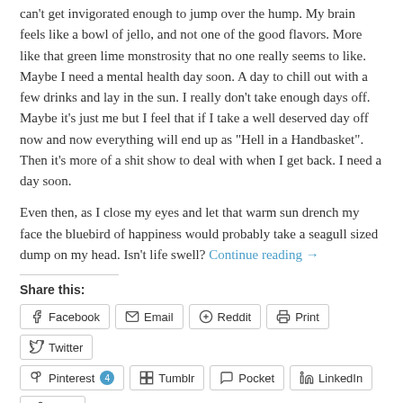can't get invigorated enough to jump over the hump. My brain feels like a bowl of jello, and not one of the good flavors. More like that green lime monstrosity that no one really seems to like. Maybe I need a mental health day soon. A day to chill out with a few drinks and lay in the sun. I really don't take enough days off. Maybe it's just me but I feel that if I take a well deserved day off now and now everything will end up as "Hell in a Handbasket". Then it's more of a shit show to deal with when I get back. I need a day soon.
Even then, as I close my eyes and let that warm sun drench my face the bluebird of happiness would probably take a seagull sized dump on my head. Isn't life swell? Continue reading →
Share this:
Facebook | Email | Reddit | Print | Twitter | Pinterest 4 | Tumblr | Pocket | LinkedIn | More
Like this:
Loading...